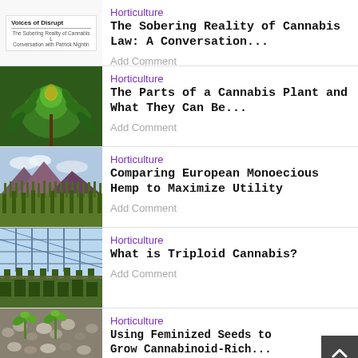[Figure (screenshot): Thumbnail of a podcast card reading 'Voices of Disrupt' with subtitle about Cannabis Law conversation with Patrick Nightin]
Horticulture
The Sobering Reality of Cannabis Law: A Conversation...
Add Comment
[Figure (photo): Close-up photo of a cannabis plant bud with green leaves]
Horticulture
The Parts of a Cannabis Plant and What They Can Be...
Add Comment
[Figure (photo): Landscape photo of hemp field with mountains in background]
Horticulture
Comparing European Monoecious Hemp to Maximize Utility
Add Comment
[Figure (photo): Photo of greenhouse interior with rows of young plants]
Horticulture
What is Triploid Cannabis?
Add Comment
[Figure (photo): Photo of small cannabis seedlings in soil/pebbles]
Horticulture
Using Feminized Seeds to Grow Cannabinoid-Rich...